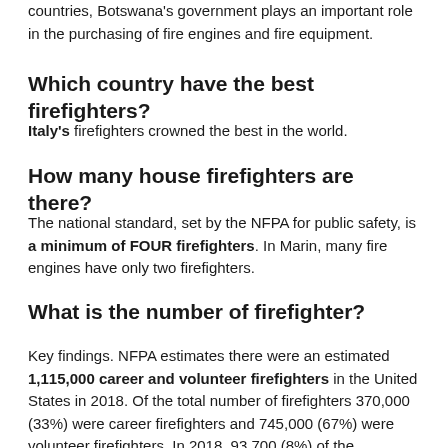countries, Botswana's government plays an important role in the purchasing of fire engines and fire equipment.
Which country have the best firefighters?
Italy's firefighters crowned the best in the world.
How many house firefighters are there?
The national standard, set by the NFPA for public safety, is a minimum of FOUR firefighters. In Marin, many fire engines have only two firefighters.
What is the number of firefighter?
Key findings. NFPA estimates there were an estimated 1,115,000 career and volunteer firefighters in the United States in 2018. Of the total number of firefighters 370,000 (33%) were career firefighters and 745,000 (67%) were volunteer firefighters. In 2018, 93,700 (8%) of the firefighters were female.